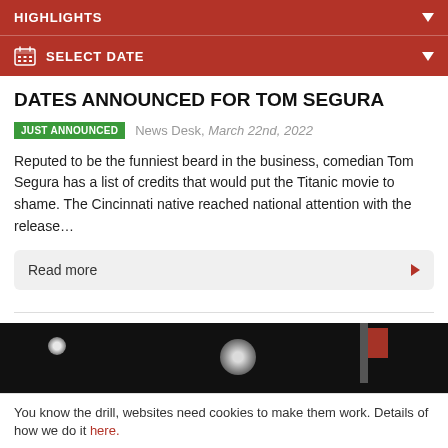HIGHLIGHTS
SELECT DATE
DATES ANNOUNCED FOR TOM SEGURA
JUST ANNOUNCED  News Desk, March 22nd, 2022
Reputed to be the funniest beard in the business, comedian Tom Segura has a list of credits that would put the Titanic movie to shame. The Cincinnati native reached national attention with the release…
Read more
[Figure (photo): Dark concert/event photo with stage lights and a flag visible on the right side]
You know the drill, websites need cookies to make them work. Details of how we do it here.
Got it!